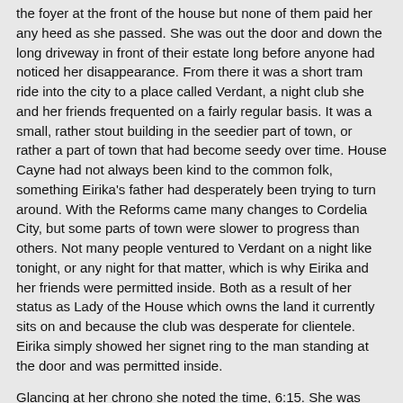the foyer at the front of the house but none of them paid her any heed as she passed. She was out the door and down the long driveway in front of their estate long before anyone had noticed her disappearance. From there it was a short tram ride into the city to a place called Verdant, a night club she and her friends frequented on a fairly regular basis. It was a small, rather stout building in the seedier part of town, or rather a part of town that had become seedy over time. House Cayne had not always been kind to the common folk, something Eirika's father had desperately been trying to turn around. With the Reforms came many changes to Cordelia City, but some parts of town were slower to progress than others. Not many people ventured to Verdant on a night like tonight, or any night for that matter, which is why Eirika and her friends were permitted inside. Both as a result of her status as Lady of the House which owns the land it currently sits on and because the club was desperate for clientele. Eirika simply showed her signet ring to the man standing at the door and was permitted inside.
Glancing at her chrono she noted the time, 6:15. She was fifteen minutes late. By now most of her friends were there, though a few were still running late. Among the missing was Saffron and Kriel. Kriel was a boy she met through school, as most of the others were. They were a rather odd mix of nobles and commoners as it was a school that permitted everyone regardless of class as part of her father's reforms. Eirika was rather venomous to most of the commoners for awhile but eventually she settled down and even made some friends. Some of which had already